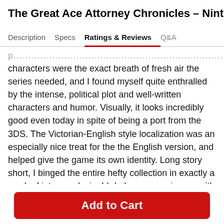The Great Ace Attorney Chronicles - Nintendo Switch
Description | Specs | Ratings & Reviews | Q&A
characters were the exact breath of fresh air the series needed, and I found myself quite enthralled by the intense, political plot and well-written characters and humor. Visually, it looks incredibly good even today in spite of being a port from the 3DS. The Victorian-English style localization was an especially nice treat for the the English version, and helped give the game its own identity. Long story short, I binged the entire hefty collection in exactly a week of intense playing! I do have some issues with the game, but they mostly come down to personal preference or nitpicks, and aren't enough to make me consider knocking a star off the rating. Personally, I found the difficulty of the mysteries too low and some of the plot
Add to Cart